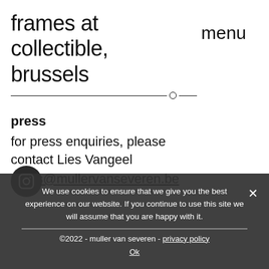frames at collectible, brussels
menu
press
for press enquiries, please contact Lies Vangeel press@mullervanseveren.be
[Figure (logo): Instagram icon - circular dark button with Instagram logo]
We use cookies to ensure that we give you the best experience on our website. If you continue to use this site we will assume that you are happy with it.
©2022 - muller van severen - privacy policy
Ok